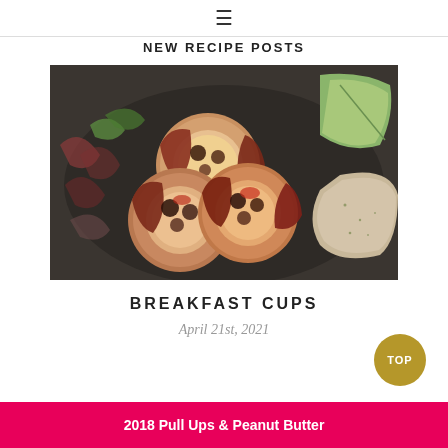≡
NEW RECIPE POSTS
[Figure (photo): Overhead close-up photo of bacon-wrapped breakfast egg cups with herbs on a dark plate, with sliced avocado and multigrain toast on the side.]
BREAKFAST CUPS
April 21st, 2021
2018 Pull Ups & Peanut Butter